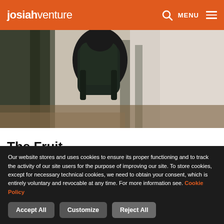josiahventure | MENU
[Figure (photo): Person wearing a dark backpack standing in a misty forest with autumn leaves on the ground]
The Fruit
While I spend a lot of my time communicating the need for a
Our website stores and uses cookies to ensure its proper functioning and to track the activity of our site users for the purpose of improving our site. To store cookies, except for necessary technical cookies, we need to obtain your consent, which is entirely voluntary and revocable at any time. For more information see. Cookie Policy
Accept All | Customize | Reject All